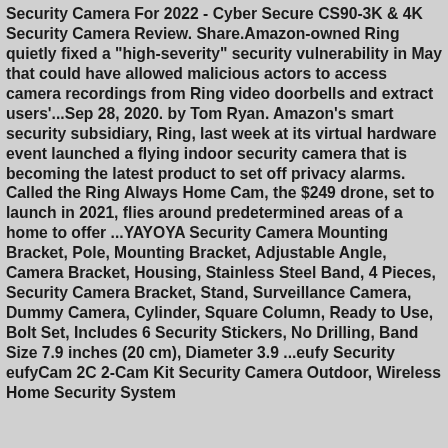Security Camera For 2022 - Cyber Secure CS90-3K & 4K Security Camera Review. Share.Amazon-owned Ring quietly fixed a "high-severity" security vulnerability in May that could have allowed malicious actors to access camera recordings from Ring video doorbells and extract users'...Sep 28, 2020. by Tom Ryan. Amazon's smart security subsidiary, Ring, last week at its virtual hardware event launched a flying indoor security camera that is becoming the latest product to set off privacy alarms. Called the Ring Always Home Cam, the $249 drone, set to launch in 2021, flies around predetermined areas of a home to offer ...YAYOYA Security Camera Mounting Bracket, Pole, Mounting Bracket, Adjustable Angle, Camera Bracket, Housing, Stainless Steel Band, 4 Pieces, Security Camera Bracket, Stand, Surveillance Camera, Dummy Camera, Cylinder, Square Column, Ready to Use, Bolt Set, Includes 6 Security Stickers, No Drilling, Band Size 7.9 inches (20 cm), Diameter 3.9 ...eufy Security eufyCam 2C 2-Cam Kit Security Camera Outdoor, Wireless Home Security System